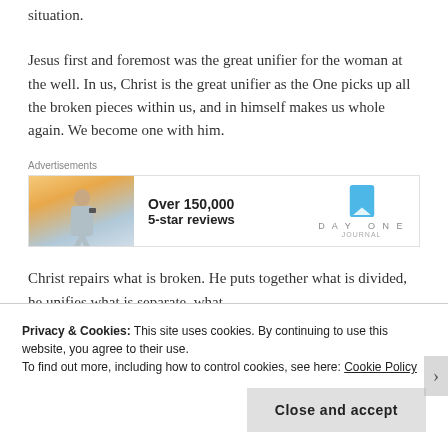situation.
Jesus first and foremost was the great unifier for the woman at the well. In us, Christ is the great unifier as the One picks up all the broken pieces within us, and in himself makes us whole again. We become one with him.
[Figure (infographic): Advertisement banner for Day One journal app showing a person photographing a sunset, with text 'Over 150,000 5-star reviews' and the Day One logo with bookmark icon.]
Christ repairs what is broken. He puts together what is divided, he unifies what is separate, what...
Privacy & Cookies: This site uses cookies. By continuing to use this website, you agree to their use.
To find out more, including how to control cookies, see here: Cookie Policy
Close and accept